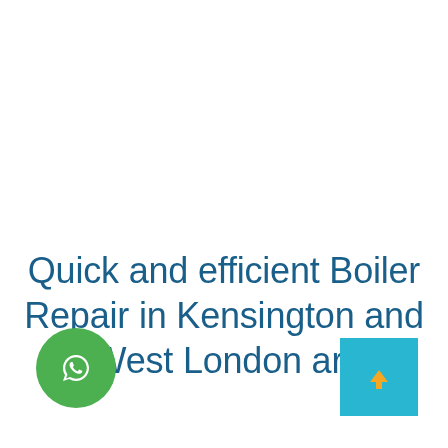Quick and efficient Boiler Repair in Kensington and all West London areas
[Figure (illustration): Green circular WhatsApp icon button in bottom-left corner]
[Figure (illustration): Cyan/teal square scroll-to-top button with orange upward arrow in bottom-right corner]